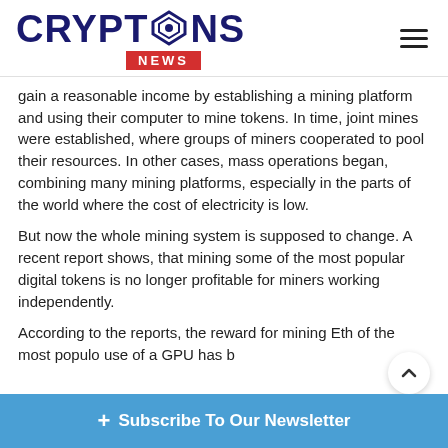CRYPTONS NEWS
gain a reasonable income by establishing a mining platform and using their computer to mine tokens. In time, joint mines were established, where groups of miners cooperated to pool their resources. In other cases, mass operations began, combining many mining platforms, especially in the parts of the world where the cost of electricity is low.
But now the whole mining system is supposed to change. A recent report shows, that mining some of the most popular digital tokens is no longer profitable for miners working independently.
According to the reports, the reward for mining Eth of the most populo... use of a GPU has b...